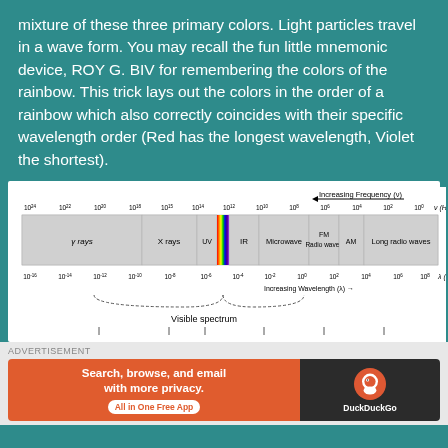mixture of these three primary colors.  Light particles travel in a wave form.  You may recall the fun little mnemonic device, ROY G. BIV for remembering the colors of the rainbow.  This trick lays out the colors in the order of a rainbow which also correctly coincides with their specific wavelength order (Red has the longest wavelength, Violet the shortest).
[Figure (infographic): Electromagnetic spectrum diagram showing frequency scale (10^24 to 10^0 Hz) at top, wavelength scale (10^-16 to 10^8 cm) at bottom, with labeled bands: gamma rays, X rays, UV, visible spectrum (rainbow stripe), IR, Microwave, FM Radio waves, AM, Long radio waves. Arrow showing increasing frequency left-to-right at top, increasing wavelength right arrow at bottom. Visible spectrum bracket labeled below.]
[Figure (screenshot): DuckDuckGo advertisement banner: orange left panel with text 'Search, browse, and email with more privacy. All in One Free App', dark right panel with DuckDuckGo logo and text 'DuckDuckGo']